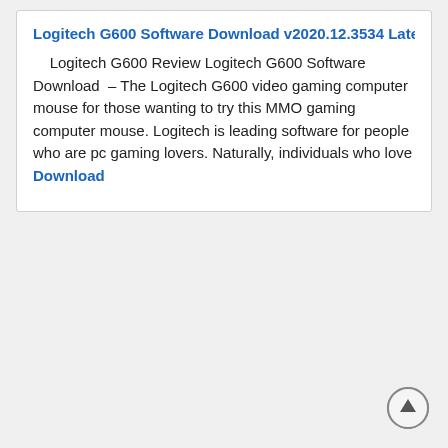Logitech G600 Software Download v2020.12.3534 Latest
Logitech G600 Review Logitech G600 Software Download – The Logitech G600 video gaming computer mouse for those wanting to try this MMO gaming computer mouse. Logitech is leading software for people who are pc gaming lovers. Naturally, individuals who love Download
[Figure (other): Scroll-to-top circular button icon with an upward arrow]